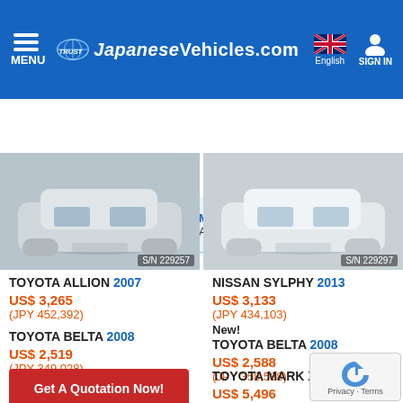MENU  TRUST JapaneseVehicles.com  English  SIGN IN
Search | Make Any | Model Any
[Figure (photo): Front view of a silver Toyota Allion, S/N 229257]
[Figure (photo): Front view of a white Nissan Sylphy, S/N 229297]
TOYOTA ALLION 2007
US$ 3,265
(JPY 452,392)
NISSAN SYLPHY 2013
US$ 3,133
(JPY 434,103)
TOYOTA BELTA 2008
US$ 2,519
(JPY 349,028)
New!
TOYOTA BELTA 2008
US$ 2,588
(JPY 358,588)
Get A Quotation Now!
(JPY 724,797)
TOYOTA MARK X 2011
US$ 5,496
(JPY 761,515)